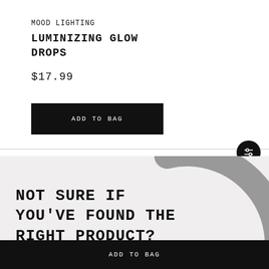MOOD LIGHTING
LUMINIZING GLOW DROPS
$17.99
ADD TO BAG
[Figure (other): Circular arc decoration on light grey background]
NOT SURE IF YOU'VE FOUND THE RIGHT PRODUCT?
ADD TO BAG